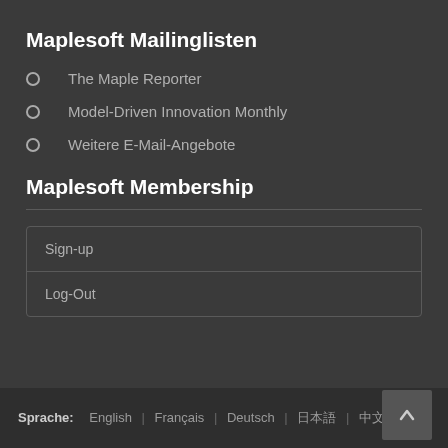Maplesoft Mailinglisten
The Maple Reporter
Model-Driven Innovation Monthly
Weitere E-Mail-Angebote
Maplesoft Membership
| Sign-up |
| Log-Out |
Sprache: English | Français | Deutsch | 日本語 | 中文